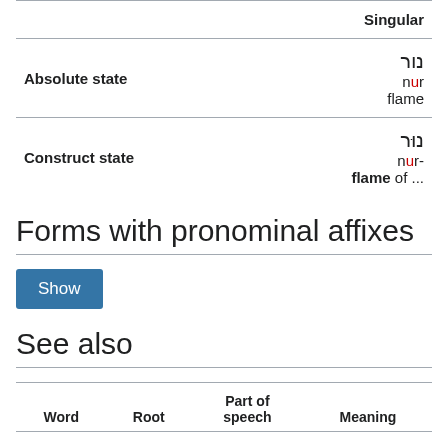|  | Singular |
| --- | --- |
| Absolute state | נור
nur
flame |
| Construct state | נוּר
nur-
flame of ... |
Forms with pronominal affixes
[Figure (other): Blue 'Show' button]
See also
| Word | Root | Part of speech | Meaning |
| --- | --- | --- | --- |